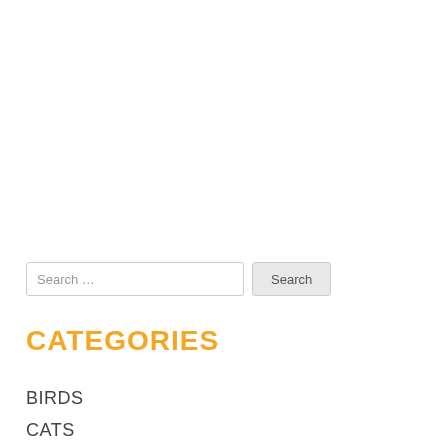Search ...
CATEGORIES
BIRDS
CATS